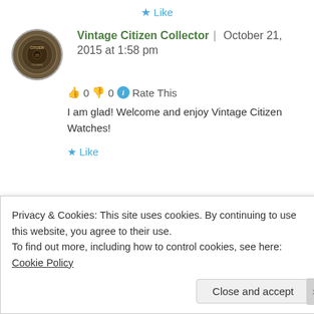★ Like
[Figure (photo): Round avatar image of a coin with 'CITIZEN' text, dark bronze/metallic appearance]
Vintage Citizen Collector | October 21, 2015 at 1:58 pm
👍 0 👎 0 ℹ Rate This
I am glad! Welcome and enjoy Vintage Citizen Watches!
★ Like
Privacy & Cookies: This site uses cookies. By continuing to use this website, you agree to their use.
To find out more, including how to control cookies, see here: Cookie Policy
Close and accept